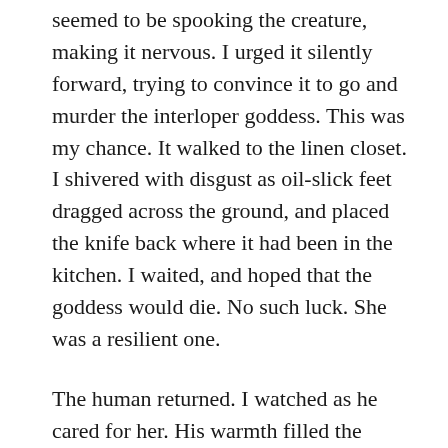seemed to be spooking the creature, making it nervous. I urged it silently forward, trying to convince it to go and murder the interloper goddess. This was my chance. It walked to the linen closet. I shivered with disgust as oil-slick feet dragged across the ground, and placed the knife back where it had been in the kitchen. I waited, and hoped that the goddess would die. No such luck. She was a resilient one.
The human returned. I watched as he cared for her. His warmth filled the house, and the goddess drank it in. Warmth that was mine, by right. She was a greedy creature, drinking deep from the Hearth that surrounded him. I watched as he took care of her. Showing her the same care that he showed me. I felt a certain warmth to see him behaving so kindly, and a burning rage to see someone else